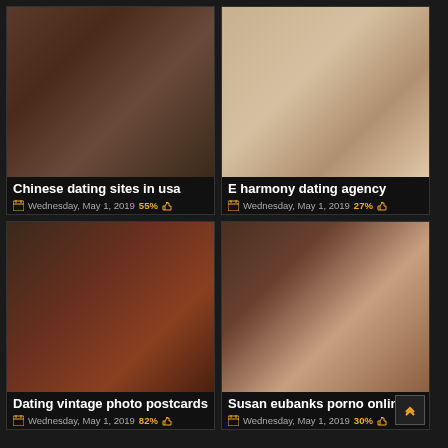[Figure (photo): Adult content thumbnail - top left card]
Chinese dating sites in usa
Wednesday, May 1, 2019 55%
[Figure (photo): Adult content thumbnail - top right card]
E harmony dating agency
Wednesday, May 1, 2019 27%
[Figure (photo): Adult content thumbnail - bottom left card]
Dating vintage photo postcards
Wednesday, May 1, 2019 82%
[Figure (photo): Adult content thumbnail - bottom right card]
Susan eubanks porno online
Wednesday, May 1, 2019 30%